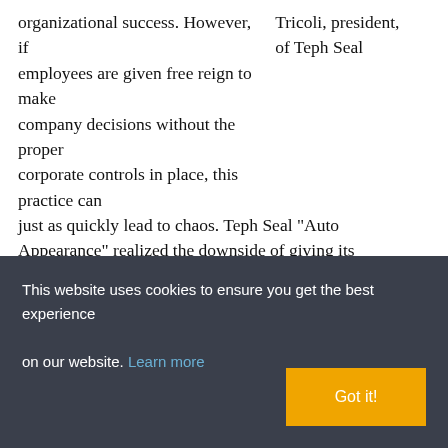organizational success. However, if employees are given free reign to make company decisions without the proper corporate controls in place, this practice can just as quickly lead to chaos. Teph Seal "Auto Appearance" realized the downside of giving its employees too much freedom. This provider of automobile detailing and refurbishing services endured years of billing and payroll inaccuracies as a result of human error and deceit due to its reliance on individual employees to complete manual service fulfillment processes. In response, the company implemented a mobile service management solution that allows the company to automate and track key service functions
Tricoli, president, of Teph Seal
This website uses cookies to ensure you get the best experience on our website. Learn more
Got it!